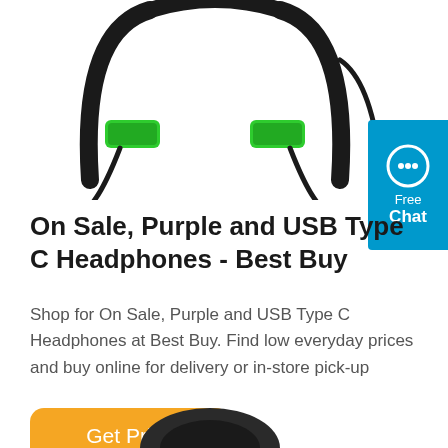[Figure (photo): Black and green neckband Bluetooth headphones partially shown at top of page]
[Figure (other): Teal/blue chat button with speech bubble icon in top-right corner with text 'Free Chat']
On Sale, Purple and USB Type C Headphones - Best Buy
Shop for On Sale, Purple and USB Type C Headphones at Best Buy. Find low everyday prices and buy online for delivery or in-store pick-up
[Figure (other): Orange rounded button with white text 'Get Price']
[Figure (photo): Partial view of dark headphones at bottom of page]